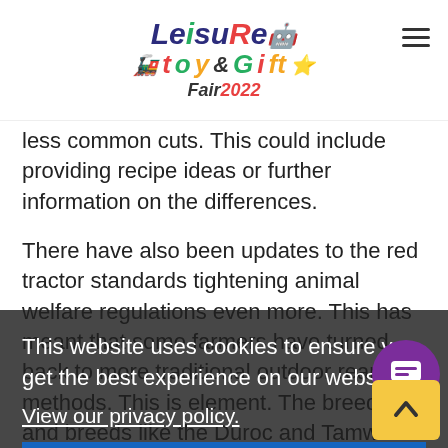Leisure Toy & Gift Fair2022
less common cuts. This could include providing recipe ideas or further information on the differences.
There have also been updates to the red tractor standards tightening animal welfare regulations even more. This has meant that some farmers have turned back to more traditional outdoor rearing methods. This is [obscured by cookie banner] element. T[he best experience on our website.] and can out[door] co[mpete] in some areas. This [can] especially be seen in pig production as with out[door] production you simp[ly] not use the hybrid breeds and breeds like the Duroc and Tamworth thriving in traditional outdoor production. This new update the
This website uses cookies to ensure you get the best experience on our website.
View our privacy policy.
Got it!